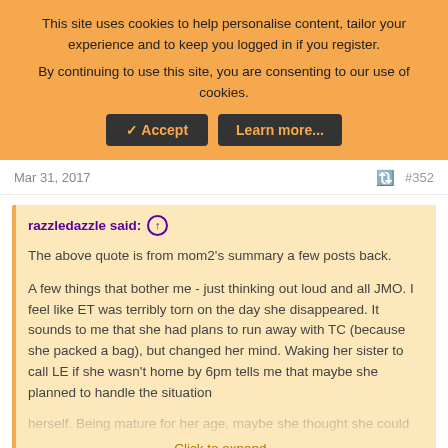This site uses cookies to help personalise content, tailor your experience and to keep you logged in if you register. By continuing to use this site, you are consenting to our use of cookies.
✓ Accept | Learn more...
Mar 31, 2017
#352
razzledazzle said: ↑
The above quote is from mom2's summary a few posts back.

A few things that bother me - just thinking out loud and all JMO. I feel like ET was terribly torn on the day she disappeared. It sounds to me that she had plans to run away with TC (because she packed a bag), but changed her mind. Waking her sister to call LE if she wasn't home by 6pm tells me that maybe she planned to handle the situation herself. Being mature for her age, maybe she thought she could
Click to expand...